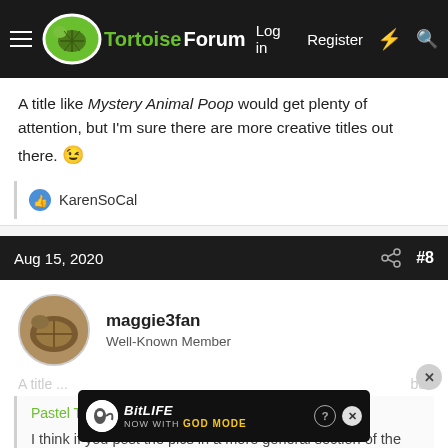TortoiseForum — Log in | Register
A title like Mystery Animal Poop would get plenty of attention, but I'm sure there are more creative titles out there. 😉
KarenSoCal
Aug 15, 2020  #8
maggie3fan
Well-Known Member
Pastel Tortie said: ↑
I think if you post the pics in a more general section of the forum, we should have at least a few members on the forum who could at least id...
A title ... but